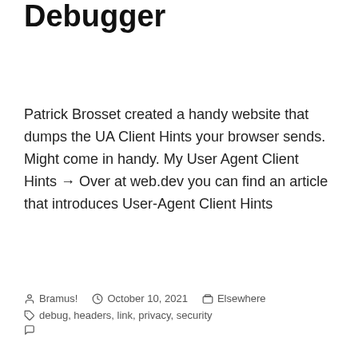Debugger
Patrick Brosset created a handy website that dumps the UA Client Hints your browser sends. Might come in handy. My User Agent Client Hints → Over at web.dev you can find an article that introduces User-Agent Client Hints
By Bramus! | October 10, 2021 | Elsewhere | Tags: debug, headers, link, privacy, security